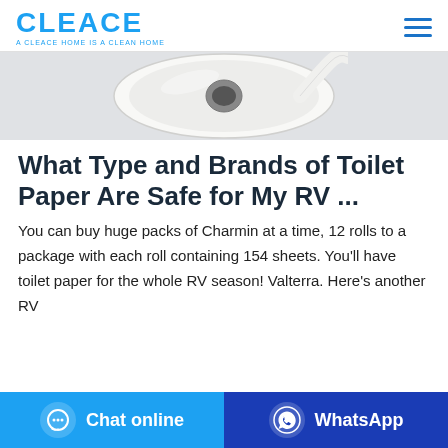CLEACE — A CLEACE HOME IS A CLEAN HOME
[Figure (photo): Partial image of a toilet paper roll on a light grey background]
What Type and Brands of Toilet Paper Are Safe for My RV ...
You can buy huge packs of Charmin at a time, 12 rolls to a package with each roll containing 154 sheets. You'll have toilet paper for the whole RV season! Valterra. Here's another RV
Chat online | WhatsApp